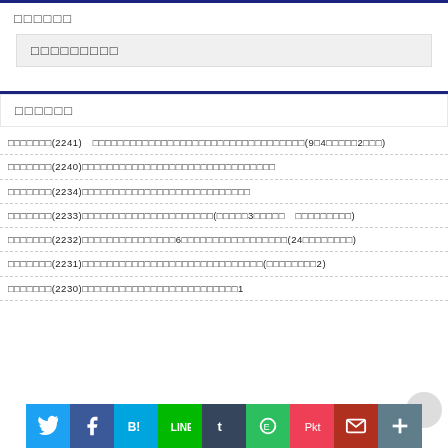□□□□□□
□□□□□□□□□
□□□□□□
□□□□□□□(2241)　□□□□□□□□□□□□□□□□□□□□□□□□□□□□□□□□□□(9□4□□□□□2□□□)
□□□□□□□(2240)□□□□□□□□□□□□□□□□□□□□□□□□□□□□□□□
□□□□□□□(2234)□□□□□□□□□□□□□□□□□□□□□□□□□□□
□□□□□□□(2233)□□□□□□□□□□□□□□□□□□□□□(□□□□□3□□□□□　□□□□□□□□□)
□□□□□□□(2232)□□□□□□□□□□□□□□□6□□□□□□□□□□□□□□□□□(24□□□□□□□□)
□□□□□□□(2231)□□□□□□□□□□□□□□□□□□□□□□□□□□□□□(□□□□□□□□2)
□□□□□□□(2230)□□□□□□□□□□□□□□□□□□□□□□□□□1